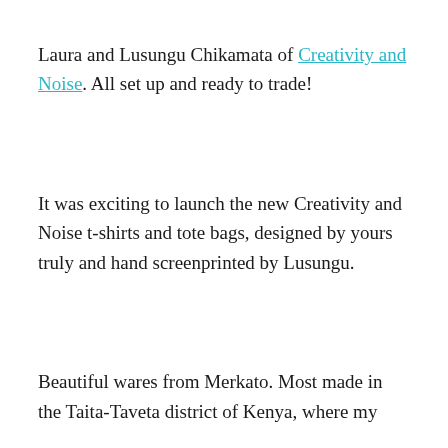Laura and Lusungu Chikamata of Creativity and Noise. All set up and ready to trade!
It was exciting to launch the new Creativity and Noise t-shirts and tote bags, designed by yours truly and hand screenprinted by Lusungu.
Beautiful wares from Merkato. Most made in the Taita-Taveta district of Kenya, where my